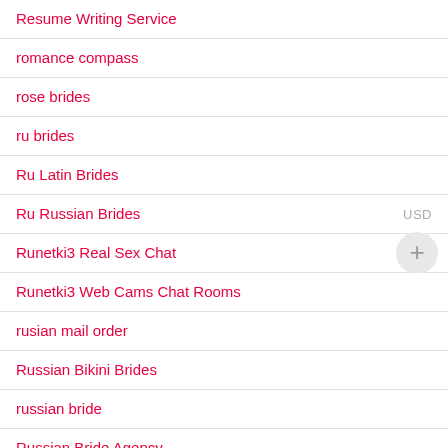Resume Writing Service
romance compass
rose brides
ru brides
Ru Latin Brides
Ru Russian Brides
Runetki3 Real Sex Chat
Runetki3 Web Cams Chat Rooms
rusian mail order
Russian Bikini Brides
russian bride
Russian Bride Agency